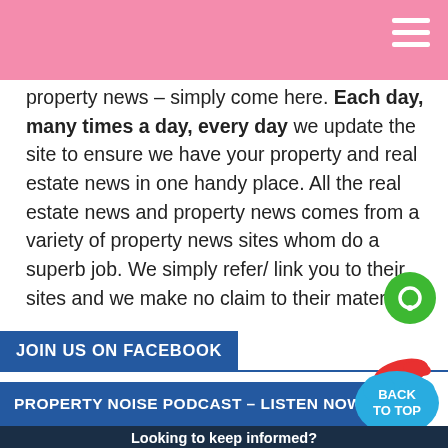property news – simply come here. Each day, many times a day, every day we update the site to ensure we have your property and real estate news in one handy place. All the real estate news and property news comes from a variety of property news sites whom do a superb job. We simply refer/ link you to their sites and we make no claim to their material.
JOIN US ON FACEBOOK
PROPERTY NOISE PODCAST – LISTEN NOW!
Looking to keep informed?